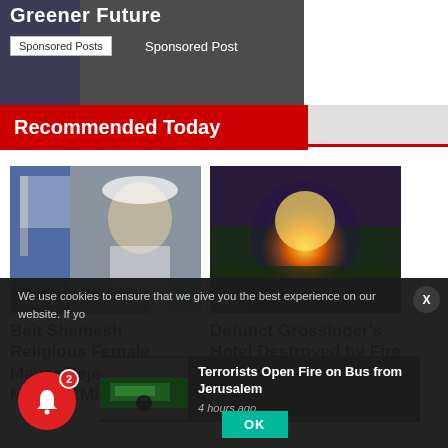[Figure (photo): Dark banner with text 'Greener Future', Sponsored Posts button and Sponsored Post label]
Recommended Today
[Figure (photo): Woman in white hat with Israeli flags, labeled Religious & Secular in Israel]
Beit Shemesh Religious Female Mayor Rejects Labor Minister Michaeli's
[Figure (photo): Fire/explosion at night labeled NY]
Defunct Grossinger's Hotel Destroyed by Fire
We use cookies to ensure that we give you the best experience on our website. If yo
[Figure (photo): Breaking news thumbnail - dark bus scene]
Terrorists Open Fire on Bus from Jerusalem
4 hours ago